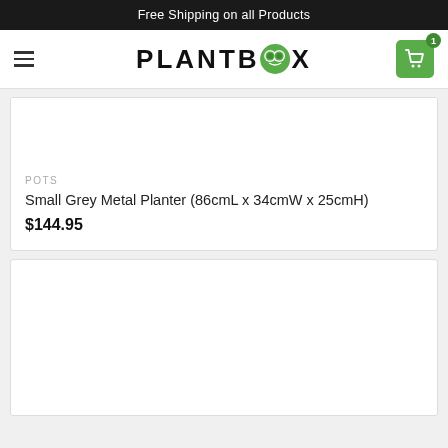Free Shipping on all Products
[Figure (logo): PLANTBOX logo with green leaf/plant icon between letters]
POTS
Small Grey Metal Planter (86cmL x 34cmW x 25cmH)
$144.95